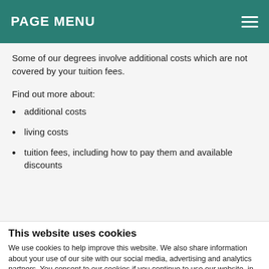PAGE MENU
Some of our degrees involve additional costs which are not covered by your tuition fees.
Find out more about:
additional costs
living costs
tuition fees, including how to pay them and available discounts
This website uses cookies
We use cookies to help improve this website. We also share information about your use of our site with our social media, advertising and analytics partners. You consent to our cookies if you continue to use our website, in accordance with our cookie policy.
OK
Necessary  Preferences  Statistics  Marketing